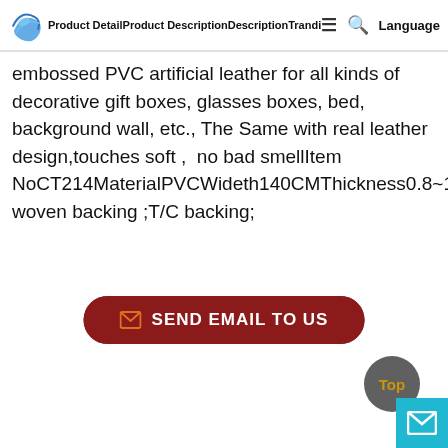Product DetailProduct DescriptionDescriptionTranditional
embossed PVC artificial leather for all kinds of decorative gift boxes, glasses boxes, bed, background wall, etc., The Same with real leather design,touches soft ,  no bad smellItem NoCT214MaterialPVCWideth140CMThickness0.8~1.2MMBack woven backing ;T/C backing;
[Figure (other): Send Email To Us button - dark red rounded rectangle with envelope icon]
[Figure (other): Top scroll button - dark grey circle with gold 'Top' text, and cyan mail icon box]